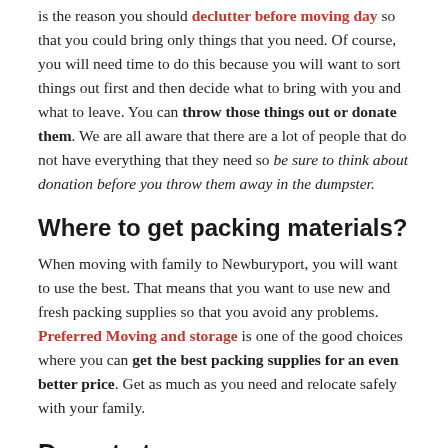is the reason you should declutter before moving day so that you could bring only things that you need. Of course, you will need time to do this because you will want to sort things out first and then decide what to bring with you and what to leave. You can throw those things out or donate them. We are all aware that there are a lot of people that do not have everything that they need so be sure to think about donation before you throw them away in the dumpster.
Where to get packing materials?
When moving with family to Newburyport, you will want to use the best. That means that you want to use new and fresh packing supplies so that you avoid any problems. Preferred Moving and storage is one of the good choices where you can get the best packing supplies for an even better price. Get as much as you need and relocate safely with your family.
Do not stress
Even though this is not practical advice, it is maybe the most important thing to avoid when organizing a family move to Newburyport. It can be